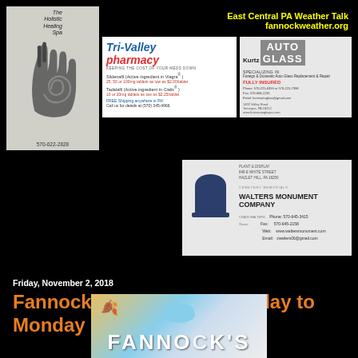[Figure (logo): The Holistic Healing Spa advertisement with hand logo and phone number 570-622-2828]
[Figure (logo): East Central PA Weather Talk - fannockweather.org text ad in yellow]
[Figure (logo): Tri-Valley Pharmacy advertisement for Sildenafil and Tadalafil medications]
[Figure (logo): Kurtz Auto Glass advertisement - Specializing in Foreign & Domestic Auto Glass Replacement & Repair, Fully Insured]
[Figure (logo): Walters Monument Company cemetery memorials advertisement with tombstone logo]
Friday, November 2, 2018
Fannock's Forecast - Saturday to Monday
[Figure (illustration): Fannock's Forecast seasonal banner image with leaves, clouds, and snowflakes]